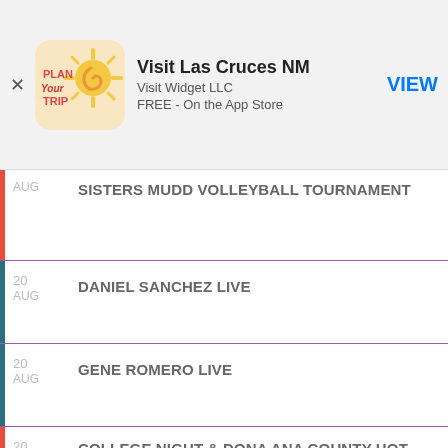[Figure (screenshot): App store advertisement banner for 'Visit Las Cruces NM' by Visit Widget LLC, FREE on the App Store, with a VIEW button]
AUG — SISTERS MUDD VOLLEYBALL TOURNAMENT
20 AUG — DANIEL SANCHEZ LIVE
20 AUG — GENE ROMERO LIVE
20 AUG — COLLEGE NIGHT & DONA ANA COUNTY HOT CITY NIGHT
20 AUG — FLAT BLAK LIVE